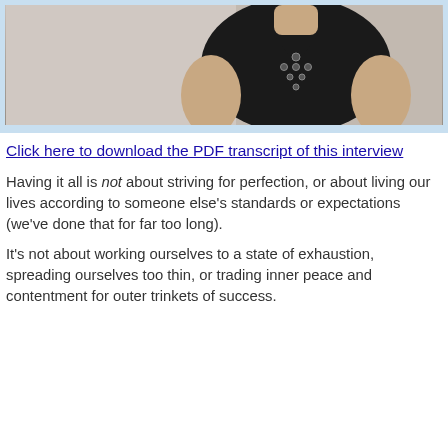[Figure (photo): Partial photo of a woman wearing a black sleeveless top with decorative circular metal details, shown from shoulders down, against a neutral background, framed with a light blue border]
Click here to download the PDF transcript of this interview
Having it all is not about striving for perfection, or about living our lives according to someone else's standards or expectations (we've done that for far too long).
It's not about working ourselves to a state of exhaustion, spreading ourselves too thin, or trading inner peace and contentment for outer trinkets of success.